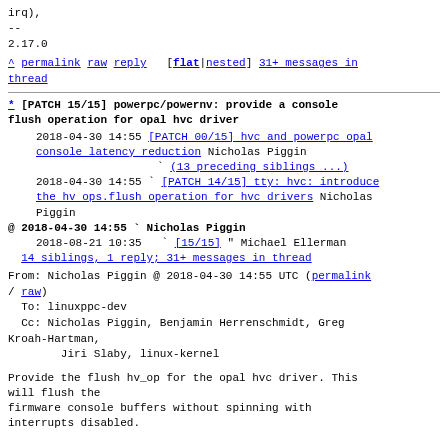irq),
--
2.17.0
^ permalink raw reply   [flat|nested] 31+ messages in thread
* [PATCH 15/15] powerpc/powernv: provide a console flush operation for opal hvc driver
  2018-04-30 14:55 [PATCH 00/15] hvc and powerpc opal console latency reduction Nicholas Piggin
                   ` (13 preceding siblings ...)
  2018-04-30 14:55 ` [PATCH 14/15] tty: hvc: introduce the hv ops.flush operation for hvc drivers Nicholas Piggin
@ 2018-04-30 14:55 ` Nicholas Piggin
  2018-08-21 10:35   ` [15/15] " Michael Ellerman
  14 siblings, 1 reply; 31+ messages in thread
From: Nicholas Piggin @ 2018-04-30 14:55 UTC (permalink / raw)
To: linuxppc-dev
Cc: Nicholas Piggin, Benjamin Herrenschmidt, Greg Kroah-Hartman,
        Jiri Slaby, linux-kernel
Provide the flush hv_op for the opal hvc driver. This will flush the
firmware console buffers without spinning with
interrupts disabled.